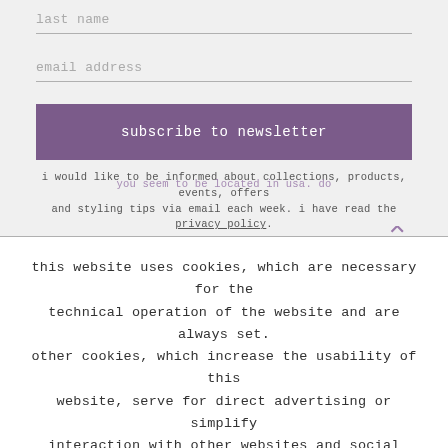last name
email address
subscribe to newsletter
you seem to be located in usa. do
i would like to be informed about collections, products, events, offers and styling tips via email each week. i have read the privacy policy.
this website uses cookies, which are necessary for the technical operation of the website and are always set. other cookies, which increase the usability of this website, serve for direct advertising or simplify interaction with other websites and social networks, will only be used with your consent.
decline
accept all